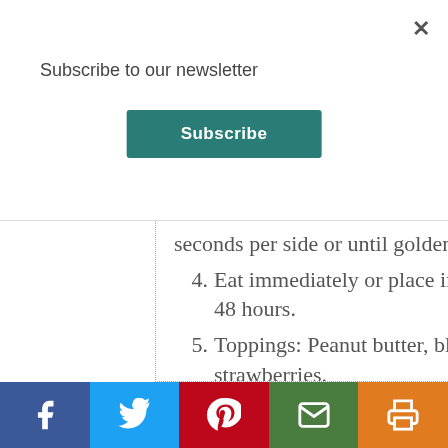Subscribe to our newsletter
[Figure (other): Subscribe button — teal rectangular button with white text 'Subscribe']
seconds per side or until golden brown.
4. Eat immediately or place in the refrigerator for up to 48 hours.
5. Toppings: Peanut butter, blueberries and diced strawberries.
[Figure (other): Social share bar with Facebook, Twitter, Pinterest, email, and print icons]